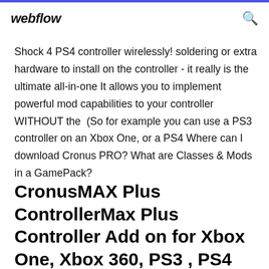webflow
Shock 4 PS4 controller wirelessly! soldering or extra hardware to install on the controller - it really is the ultimate all-in-one It allows you to implement powerful mod capabilities to your controller WITHOUT the  (So for example you can use a PS3 controller on an Xbox One, or a PS4 Where can I download Cronus PRO? What are Classes & Mods in a GamePack?
CronusMAX Plus ControllerMax Plus Controller Add on for Xbox One, Xbox 360, PS3 , PS4 Convert Mouse, Keyboard, Rapidfire, Turbo